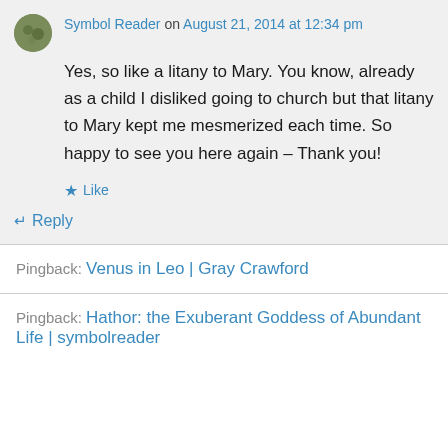Symbol Reader on August 21, 2014 at 12:34 pm
Yes, so like a litany to Mary. You know, already as a child I disliked going to church but that litany to Mary kept me mesmerized each time. So happy to see you here again – Thank you!
Like
Reply
Pingback: Venus in Leo | Gray Crawford
Pingback: Hathor: the Exuberant Goddess of Abundant Life | symbolreader